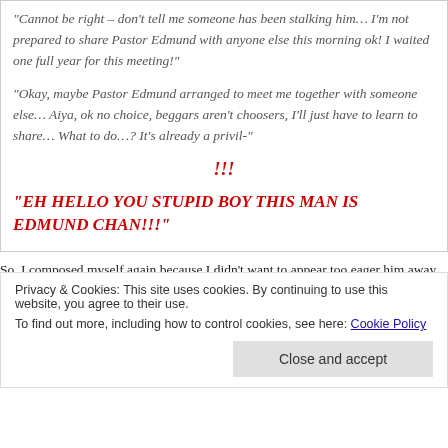“Cannot be right – don’t tell me someone has been stalking him… I’m not prepared to share Pastor Edmund with anyone else this morning ok! I waited one full year for this meeting!”
“Okay, maybe Pastor Edmund arranged to meet me together with someone else… Aiya, ok no choice, beggars aren’t choosers, I’ll just have to learn to share… What to do…? It’s already a privil-”
!!!
“EH HELLO YOU STUPID BOY THIS MAN IS EDMUND CHAN!!!”
So, I composed myself again because I didn’t want to appear too eager him away. THIS WAS IT. I AM ABOUT TO MEET THE MAN! I walked u
Privacy & Cookies: This site uses cookies. By continuing to use this website, you agree to their use.
To find out more, including how to control cookies, see here: Cookie Policy
Close and accept